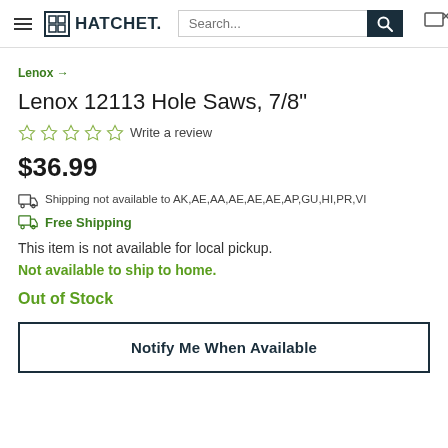HATCHET. [search bar] [cart icon]
Lenox →
Lenox 12113 Hole Saws, 7/8"
☆ ☆ ☆ ☆ ☆ Write a review
$36.99
Shipping not available to AK,AE,AA,AE,AE,AE,AP,GU,HI,PR,VI
Free Shipping
This item is not available for local pickup.
Not available to ship to home.
Out of Stock
Notify Me When Available